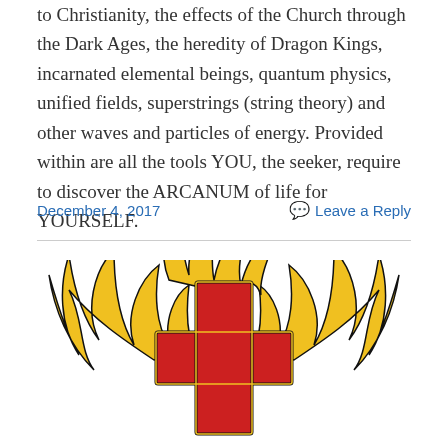to Christianity, the effects of the Church through the Dark Ages, the heredity of Dragon Kings, incarnated elemental beings, quantum physics, unified fields, superstrings (string theory) and other waves and particles of energy. Provided within are all the tools YOU, the seeker, require to discover the ARCANUM of life for YOURSELF.
December 4, 2017
Leave a Reply
[Figure (illustration): Rosicrucian-style emblem featuring a large red cross with a gold border in the center, surrounded by golden flame-like wings extending horizontally on either side, and a flame crown at the top. The design is in red, gold/yellow, and black on a white background.]